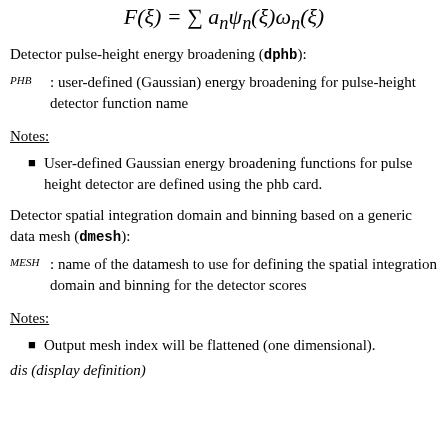Detector pulse-height energy broadening (dphb):
PHB : user-defined (Gaussian) energy broadening for pulse-height detector function name
Notes:
User-defined Gaussian energy broadening functions for pulse height detector are defined using the phb card.
Detector spatial integration domain and binning based on a generic data mesh (dmesh):
MESH : name of the datamesh to use for defining the spatial integration domain and binning for the detector scores
Notes:
Output mesh index will be flattened (one dimensional).
dis (display definition)